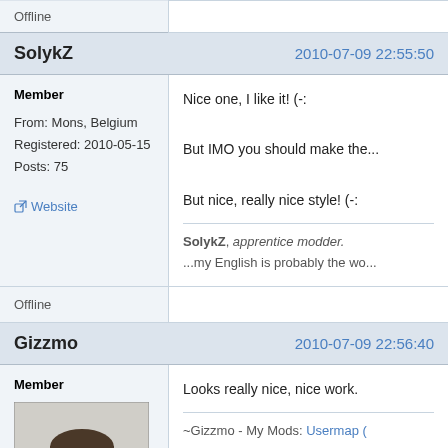Offline
SolykZ  2010-07-09 22:55:50
Member
From: Mons, Belgium
Registered: 2010-05-15
Posts: 75
Website
Nice one, I like it! (-:

But IMO you should make the...

But nice, really nice style! (-:

SolykZ, apprentice modder.
...my English is probably the wo...
Offline
Gizzmo  2010-07-09 22:56:40
Member
[Figure (photo): Avatar photo of Gizzmo - a man with short hair and beard]
From: Earth, Milkyway Galaxy
Looks really nice, nice work.

~Gizzmo - My Mods: Usermap (